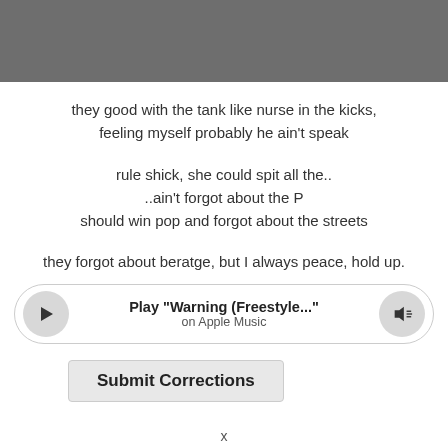[Figure (other): Gray header bar at top of page]
they good with the tank like nurse in the kicks,
feeling myself probably he ain't speak
rule shick, she could spit all the..
..ain't forgot about the P
should win pop and forgot about the streets
they forgot about beratge, but I always peace, hold up.
[Figure (other): Music player bar with play button, 'Play "Warning (Freestyle..."' text, 'on Apple Music' subtext, and speaker button]
Submit Corrections
x